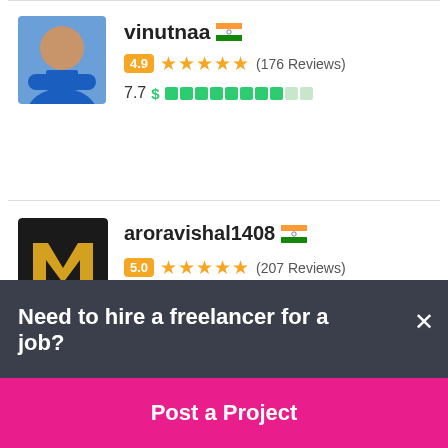[Figure (photo): Profile photo of vinutnaa, a person in blue polo shirt with arms crossed]
vinutnaa 🇮🇳
4.9 ★★★★★ (176 Reviews)
7.7 $ ████████▒▒
[Figure (logo): Mavericks logo — black background with gold M letter]
aroravishal1408 🇮🇳
5.0 ★★★★★ (207 Reviews)
7.3 $ ████████▒▒
Need to hire a freelancer for a job?
Post a Project